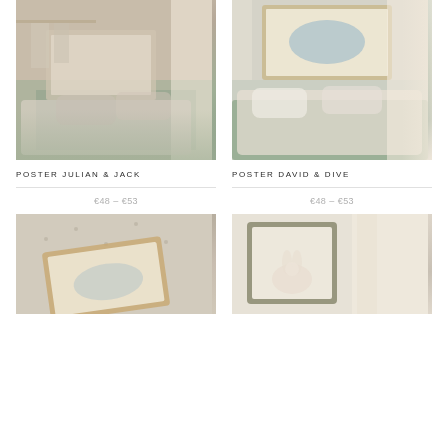[Figure (photo): Children's bedroom with green bed frame, white bedding, hanging clothes on wall rack, framed bird artwork above, sheer cream curtain - product photo for Poster Julian & Jack]
POSTER JULIAN & JACK
€48 – €53
[Figure (photo): Children's bedroom with green bed frame, white bedding, canopy curtains, framed whale artwork on wall - product photo for Poster David & Dive]
POSTER DAVID & DIVE
€48 – €53
[Figure (photo): Flatlay of star-patterned fabric with framed animal artwork in wooden frame on top - partial product photo bottom left]
[Figure (photo): Children's room with sheer canopy curtains and framed rabbit artwork in olive green frame - partial product photo bottom right]